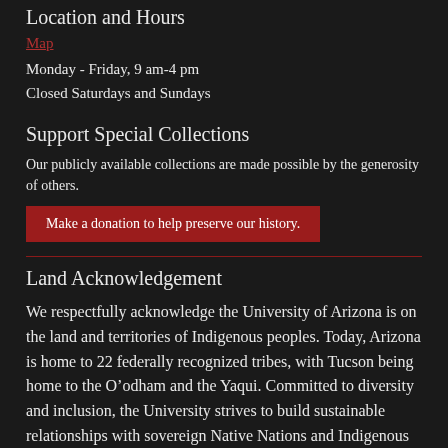Location and Hours
Map
Monday - Friday, 9 am-4 pm
Closed Saturdays and Sundays
Support Special Collections
Our publicly available collections are made possible by the generosity of others.
Make a donation to help preserve our history.
Land Acknowledgement
We respectfully acknowledge the University of Arizona is on the land and territories of Indigenous peoples. Today, Arizona is home to 22 federally recognized tribes, with Tucson being home to the O’odham and the Yaqui. Committed to diversity and inclusion, the University strives to build sustainable relationships with sovereign Native Nations and Indigenous communities through education offerings, partnerships, and community service.